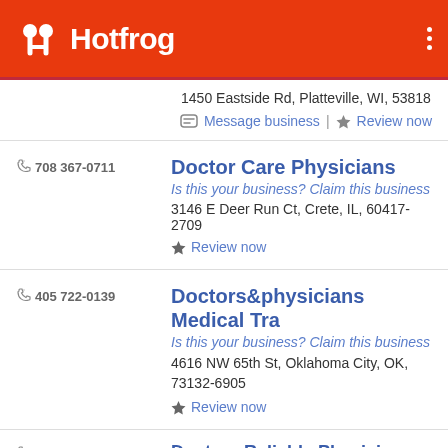Hotfrog
1450 Eastside Rd, Platteville, WI, 53818
Message business | Review now
708 367-0711
Doctor Care Physicians
Is this your business? Claim this business
3146 E Deer Run Ct, Crete, IL, 60417-2709
Review now
405 722-0139
Doctors&physicians Medical Tra
Is this your business? Claim this business
4616 NW 65th St, Oklahoma City, OK, 73132-6905
Review now
Doctors Reliable Physicians